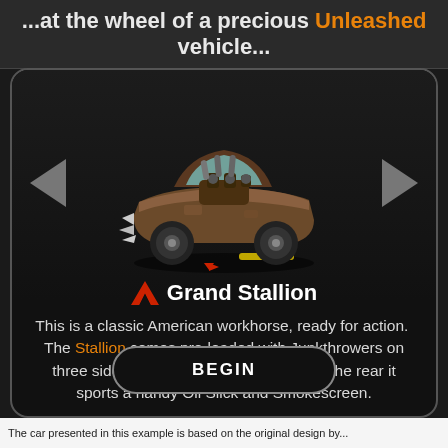...at the wheel of a precious Unleashed vehicle...
[Figure (illustration): A post-apocalyptic modified classic American muscle car (Grand Stallion) with exposed engine, spikes/blades on the front, rusted brown body, viewed from a 3/4 front angle. Navigation arrows on left and right sides.]
Grand Stallion
This is a classic American workhorse, ready for action. The Stallion comes pre-loaded with Junkthrowers on three sides for all-round offense, and on the rear it sports a handy Oil Slick and Smokescreen.
BEGIN
The car presented in this example is based on the original design by...